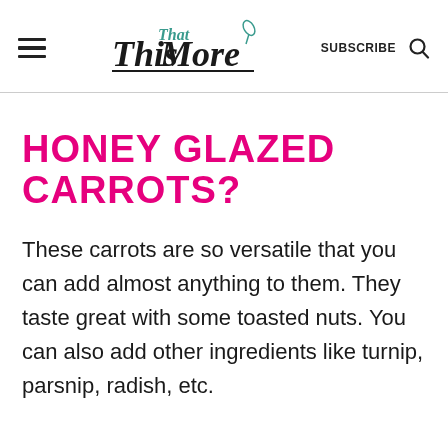This That More — SUBSCRIBE
HONEY GLAZED CARROTS?
These carrots are so versatile that you can add almost anything to them. They taste great with some toasted nuts. You can also add other ingredients like turnip, parsnip, radish, etc.